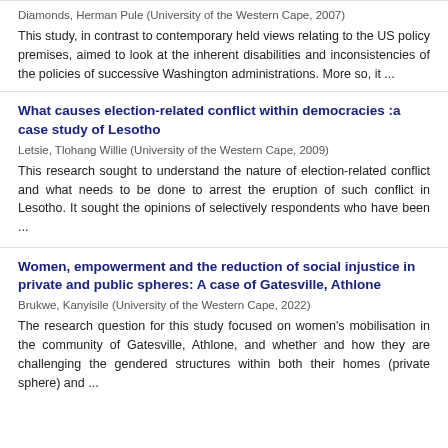Diamonds, Herman Pule (University of the Western Cape, 2007)
This study, in contrast to contemporary held views relating to the US policy premises, aimed to look at the inherent disabilities and inconsistencies of the policies of successive Washington administrations. More so, it ...
What causes election-related conflict within democracies :a case study of Lesotho
Letsie, Tlohang Willie (University of the Western Cape, 2009)
This research sought to understand the nature of election-related conflict and what needs to be done to arrest the eruption of such conflict in Lesotho. It sought the opinions of selectively respondents who have been ...
Women, empowerment and the reduction of social injustice in private and public spheres: A case of Gatesville, Athlone
Brukwe, Kanyisile (University of the Western Cape, 2022)
The research question for this study focused on women's mobilisation in the community of Gatesville, Athlone, and whether and how they are challenging the gendered structures within both their homes (private sphere) and ...